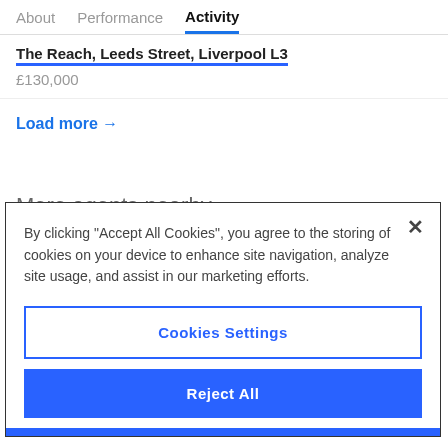About   Performance   Activity
The Reach, Leeds Street, Liverpool L3
£130,000
Load more →
More agents nearby
By clicking "Accept All Cookies", you agree to the storing of cookies on your device to enhance site navigation, analyze site usage, and assist in our marketing efforts.
Cookies Settings
Reject All